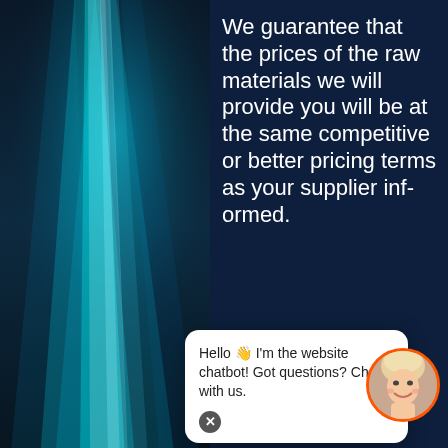[Figure (illustration): Abstract blue and teal light streaks on dark background, vertical rays of light]
We guarantee that the prices of the raw materials we will provide you will be at the same competitive or better pricing terms as your supplier informed.
[Figure (screenshot): Chatbot popup bubble with text: Hello 👋 I'm the website chatbot! Got questions? Chat with us. With a close (x) button.]
[Figure (photo): Circular avatar photo of a smiling blonde woman with orange border ring, representing the chatbot agent.]
NO INTEREST, NO CREDIT CHECK, NO COLLATERAL, NO LOAN FEES, NO